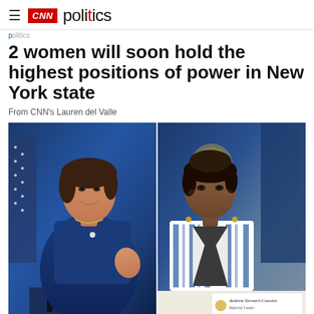CNN politics
2 women will soon hold the highest positions of power in New York state
From CNN's Lauren del Valle
[Figure (photo): Split composite photo: Left side shows New York Lt. Gov. Kathy Hochul in a blue dress, smiling and gesturing at a podium with an American flag in background. Right side shows Senate Majority Leader Andrea Stewart-Cousins in a patterned blue and white jacket, speaking at a table with a nameplate reading 'Andrea Stewart-Cousins, Majority Leader'.]
From left, New York Lt. Gov. Kathy Hochul and Senate Majority Leader Andrea Stewart-Cousins.  (Getty Images/Reuters)